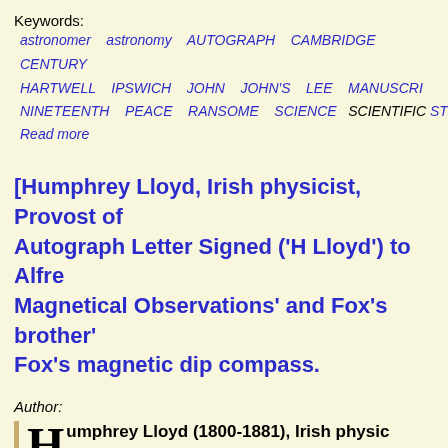Keywords:
astronomer  astronomy  AUTOGRAPH  CAMBRIDGE  CENTURY  HARTWELL  IPSWICH  JOHN  JOHN'S  LEE  MANUSCRIPT  NINETEENTH  PEACE  RANSOME  SCIENCE  SCIENTIFIC  ST
Read more
[Humphrey Lloyd, Irish physicist, Provost of... Autograph Letter Signed ('H Lloyd') to Alfred... Magnetical Observations' and Fox's brother'... Fox's magnetic dip compass.
Author:
Humphrey Lloyd (1800-1881), Irish physicist... Dublin [Robert Were Fox the Younger (1789... magnetic dip compass]
Publication details:
Trinity College Dublin, 24 March 1835,